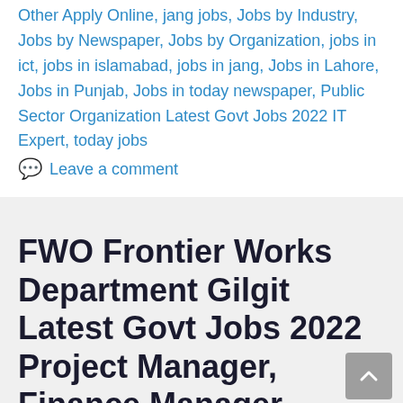Other Apply Online, jang jobs, Jobs by Industry, Jobs by Newspaper, Jobs by Organization, jobs in ict, jobs in islamabad, jobs in jang, Jobs in Lahore, Jobs in Punjab, Jobs in today newspaper, Public Sector Organization Latest Govt Jobs 2022 IT Expert, today jobs
Leave a comment
FWO Frontier Works Department Gilgit Latest Govt Jobs 2022 Project Manager, Finance Manager